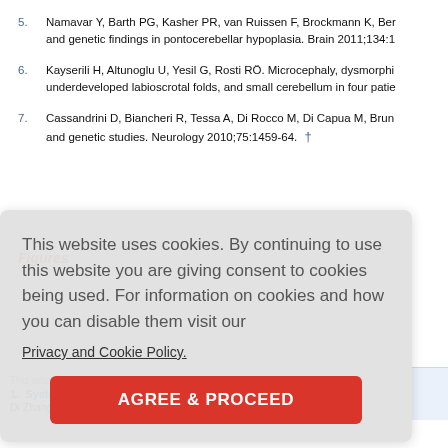5. Namavar Y, Barth PG, Kasher PR, van Ruissen F, Brockmann K, Ber... and genetic findings in pontocerebellar hypoplasia. Brain 2011;134:1
6. Kayserili H, Altunoglu U, Yesil G, Rosti RÖ. Microcephaly, dysmorphi... underdeveloped labioscrotal folds, and small cerebellum in four patie...
7. Cassandrini D, Biancheri R, Tessa A, Di Rocco M, Di Capua M, Brun... and genetic studies. Neurology 2010;75:1459-64. †
Figures
This website uses cookies. By continuing to use this website you are giving consent to cookies being used. For information on cookies and how you can disable them visit our Privacy and Cookie Policy.
AGREE & PROCEED
This article h...
Systematic analysis of the relationship between ovarian cancer
Di Zhang, Dan Zou, Yue Deng, Lihua Yang